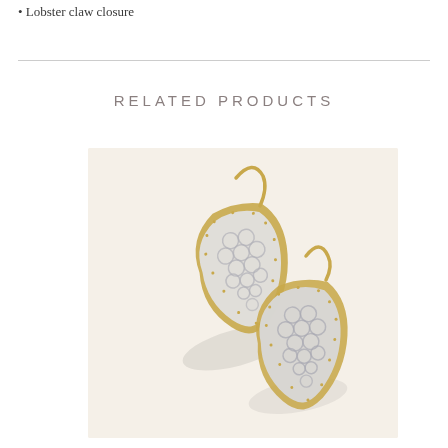Lobster claw closure
RELATED PRODUCTS
[Figure (photo): Two gold-framed drop earrings with silver filigree/lace-patterned decorative pendants in a Moorish arch shape, displayed on a warm cream background.]